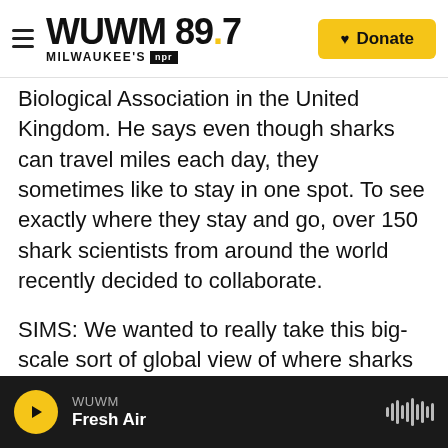WUWM 89.7 MILWAUKEE'S NPR | Donate
Biological Association in the United Kingdom. He says even though sharks can travel miles each day, they sometimes like to stay in one spot. To see exactly where they stay and go, over 150 shark scientists from around the world recently decided to collaborate.
SIMS: We wanted to really take this big-scale sort of global view of where sharks were hanging out.
GREENFIELDBOYCE: The team tracked almost two dozen shark species using satellite tags on over 1,500 individual sharks. They also looked at the movements of thousands of fishing vessels using
WUWM Fresh Air